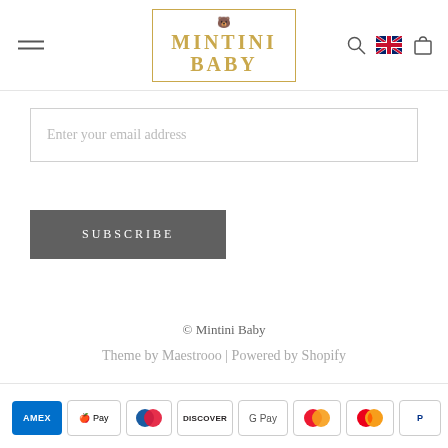[Figure (logo): Mintini Baby logo — gold text in a gold border box with a small bear icon above the text]
Enter your email address
SUBSCRIBE
© Mintini Baby
Theme by Maestrooo  |  Powered by Shopify
[Figure (other): Row of payment method icons: American Express, Apple Pay, Diners Club, Discover, Google Pay, Maestro, Mastercard, PayPal]